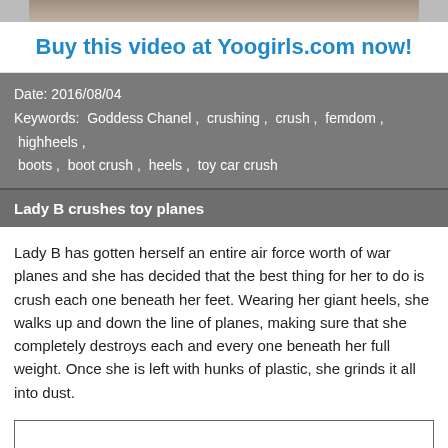[Figure (photo): Top image bar showing partial photo]
Buy this video at Yoogirls.com now!
Date: 2016/08/04
Keywords:  Goddess Chanel ,  crushing ,  crush ,  femdom ,  highheels ,  boots ,  boot crush ,  heels ,  toy car crush
Lady B crushes toy planes
Lady B has gotten herself an entire air force worth of war planes and she has decided that the best thing for her to do is crush each one beneath her feet. Wearing her giant heels, she walks up and down the line of planes, making sure that she completely destroys each and every one beneath her full weight. Once she is left with hunks of plastic, she grinds it all into dust.
[Figure (other): Empty bordered box area at bottom]